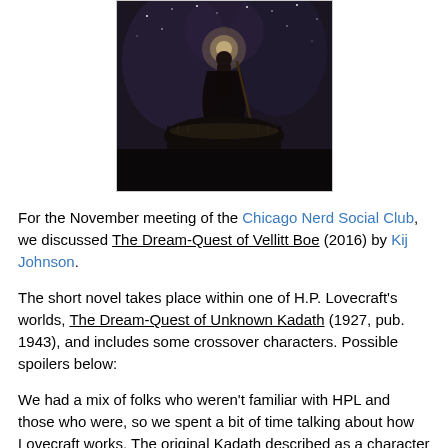[Figure (illustration): Book cover art for The Dream-Quest of Vellitt Boe, showing a figure with a staff standing on a rocky hilltop under a dark, swirling cosmic sky filled with stars and strange formations.]
For the November meeting of the Chicago Nerd Social Club, we discussed The Dream-Quest of Vellitt Boe (2016) by Kij Johnson.
The short novel takes place within one of H.P. Lovecraft's worlds, The Dream-Quest of Unknown Kadath (1927, pub. 1943), and includes some crossover characters. Possible spoilers below:
We had a mix of folks who weren't familiar with HPL and those who were, so we spent a bit of time talking about how Lovecraft works. The original Kadath described as a character kind of nonsensically wandering "but like spookily". And here we take conventional distance that I...